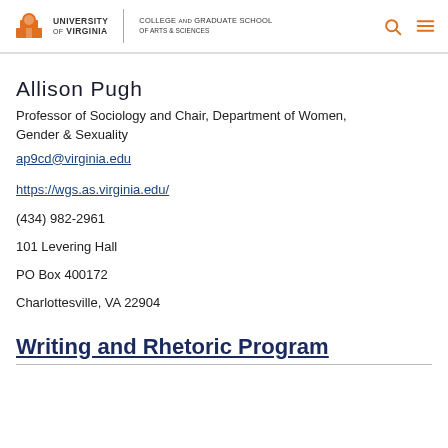University of Virginia | College and Graduate School of Arts & Sciences
Allison Pugh
Professor of Sociology and Chair, Department of Women, Gender & Sexuality
ap9cd@virginia.edu
https://wgs.as.virginia.edu/
(434) 982-2961
101 Levering Hall
PO Box 400172
Charlottesville, VA 22904
Writing and Rhetoric Program